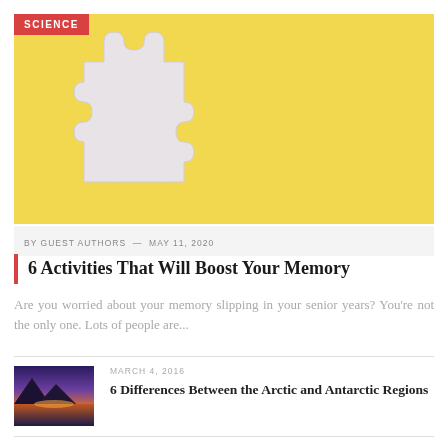[Figure (photo): Yellow background with a single white/light grey puzzle piece in the center-left area, with a red 'SCIENCE' badge in the top-left corner]
BY GUEST AUTHORS — MAY 11, 2020
6 Activities That Will Boost Your Memory
Are you worried about your memory slipping in your senior years? You're not the only one. Lots of people are...
[Figure (photo): Thumbnail photo of a mountain lake at sunset with purple and orange sky]
MARCH 4, 2016
6 Differences Between the Arctic and Antarctic Regions